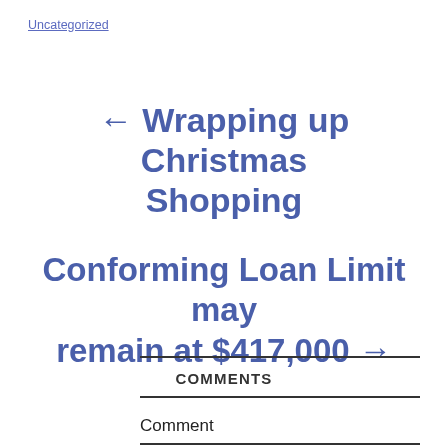Uncategorized
← Wrapping up Christmas Shopping
Conforming Loan Limit may remain at $417,000 →
COMMENTS
Comment